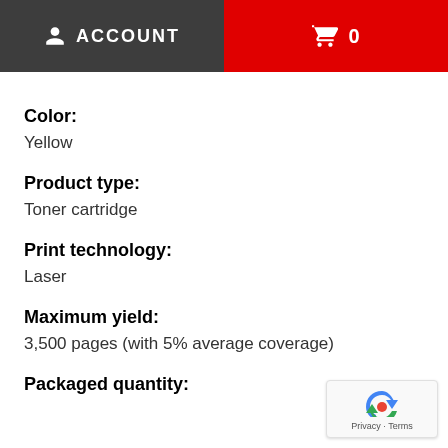ACCOUNT  0
Color:
Yellow
Product type:
Toner cartridge
Print technology:
Laser
Maximum yield:
3,500 pages (with 5% average coverage)
Packaged quantity: